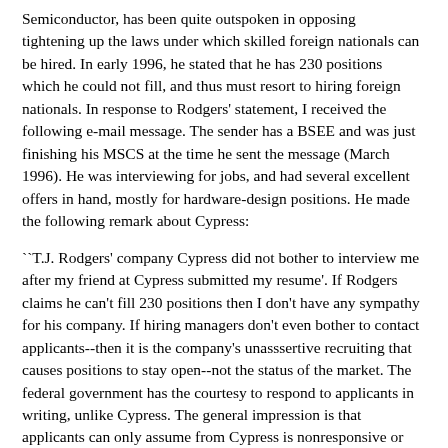Semiconductor, has been quite outspoken in opposing tightening up the laws under which skilled foreign nationals can be hired. In early 1996, he stated that he has 230 positions which he could not fill, and thus must resort to hiring foreign nationals. In response to Rodgers' statement, I received the following e-mail message. The sender has a BSEE and was just finishing his MSCS at the time he sent the message (March 1996). He was interviewing for jobs, and had several excellent offers in hand, mostly for hardware-design positions. He made the following remark about Cypress:
``T.J. Rodgers' company Cypress did not bother to interview me after my friend at Cypress submitted my resume'. If Rodgers claims he can't fill 230 positions then I don't have any sympathy for his company. If hiring managers don't even bother to contact applicants--then it is the company's unasssertive recruiting that causes positions to stay open--not the status of the market. The federal government has the courtesy to respond to applicants in writing, unlike Cypress. The general impression is that applicants can only assume from Cypress is nonresponsive or nonhiring. After learning how my MSEE friend is compensated at Cypress, any market-wise person should be unsurprised that Cypress has difficulty filling positions."
In an interview with the San Francisco Chronicle (March 7, 1996), Rodgers even claimed that he cannot find people to fill even his